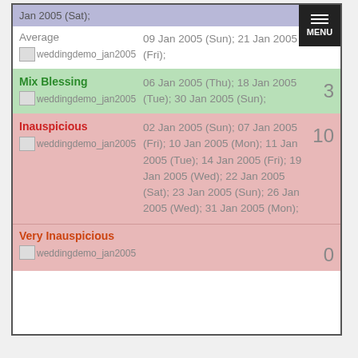Jan 2005 (Sat);
Average
09 Jan 2005 (Sun); 21 Jan 2005 (Fri);
[Figure (other): weddingdemo_jan2005 image placeholder]
Mix Blessing
06 Jan 2005 (Thu); 18 Jan 2005 (Tue); 30 Jan 2005 (Sun);
3
[Figure (other): weddingdemo_jan2005 image placeholder]
Inauspicious
02 Jan 2005 (Sun); 07 Jan 2005 (Fri); 10 Jan 2005 (Mon); 11 Jan 2005 (Tue); 14 Jan 2005 (Fri); 19 Jan 2005 (Wed); 22 Jan 2005 (Sat); 23 Jan 2005 (Sun); 26 Jan 2005 (Wed); 31 Jan 2005 (Mon);
10
[Figure (other): weddingdemo_jan2005 image placeholder]
Very Inauspicious
0
[Figure (other): weddingdemo_jan2005 image placeholder]